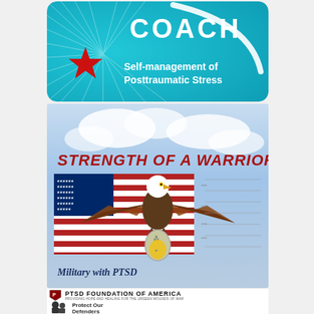[Figure (logo): COACH app logo - teal/cyan background with radial rays, red star, white text 'COACH' and 'Self-management of Posttraumatic Stress']
[Figure (illustration): Strength of a Warrior - military PTSD support image with American flag, bald eagle, and text 'STRENGTH OF A WARRIOR' and 'Military with PTSD']
[Figure (logo): PTSD Foundation of America logo with shield and text 'PTSD FOUNDATION OF AMERICA - PROVIDING HOPE AND HEALING FOR THE UNSEEN WOUNDS OF WAR']
[Figure (logo): Protect Our Defenders logo with silhouette of two military figures and bold text 'Protect Our Defenders']